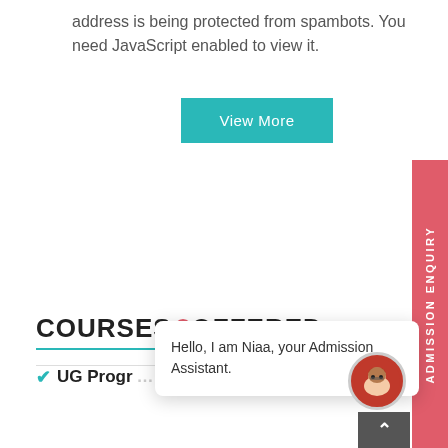address is being protected from spambots. You need JavaScript enabled to view it.
[Figure (other): Teal 'View More' button]
[Figure (other): Red vertical 'ADMISSION ENQUIRY' sidebar tab on right edge]
COURSES OFFERED
[Figure (other): Chat popup bubble with avatar: 'Hello, I am Niaa, your Admission Assistant.']
UG Programme